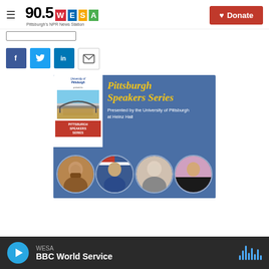90.5 WESA — Pittsburgh's NPR News Station | Donate
[Figure (logo): 90.5 WESA Pittsburgh's NPR News Station logo with colored letter boxes and Donate button]
[Figure (other): Social share buttons: Facebook, Twitter, LinkedIn, Email]
[Figure (illustration): Pittsburgh Speakers Series event poster presented by the University of Pittsburgh at Heinz Hall, with four circular portrait photos of speakers]
WESA — BBC World Service (player bar)